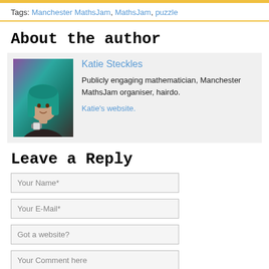Tags: Manchester MathsJam, MathsJam, puzzle
About the author
[Figure (photo): Photo of Katie Steckles with teal/green hair]
Katie Steckles
Publicly engaging mathematician, Manchester MathsJam organiser, hairdo.
Katie's website.
Leave a Reply
Your Name*
Your E-Mail*
Got a website?
Your Comment here